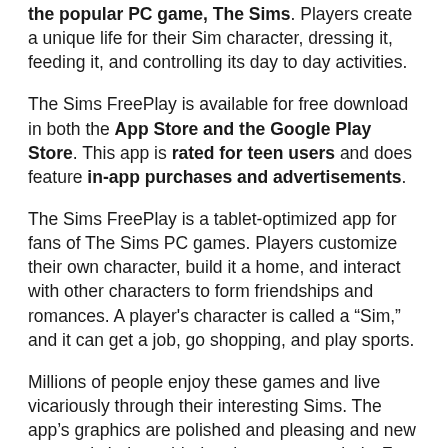the popular PC game, The Sims. Players create a unique life for their Sim character, dressing it, feeding it, and controlling its day to day activities.
The Sims FreePlay is available for free download in both the App Store and the Google Play Store. This app is rated for teen users and does feature in-app purchases and advertisements.
The Sims FreePlay is a tablet-optimized app for fans of The Sims PC games. Players customize their own character, build it a home, and interact with other characters to form friendships and romances. A player's character is called a "Sim," and it can get a job, go shopping, and play sports.
Millions of people enjoy these games and live vicariously through their interesting Sims. The app's graphics are polished and pleasing and new content is being added to the game regularly. For example, players can let their character have a pet, celebrate the holidays, or get a makeover with dozens of hairstyles.